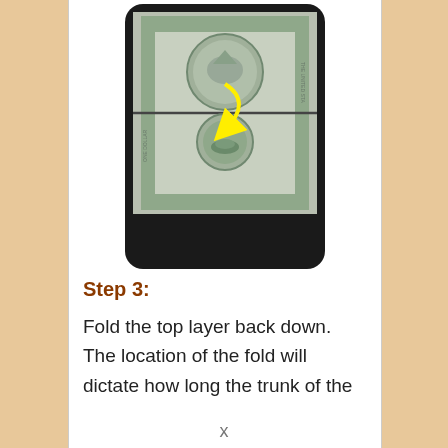[Figure (photo): A dollar bill being folded, shown inside a phone/tablet shaped device viewer. A yellow arrow curves from the upper portion to the lower portion of the bill, indicating the folding direction. The bill shows the back of a US one dollar bill with visible imagery.]
Step 3:
Fold the top layer back down. The location of the fold will dictate how long the trunk of the